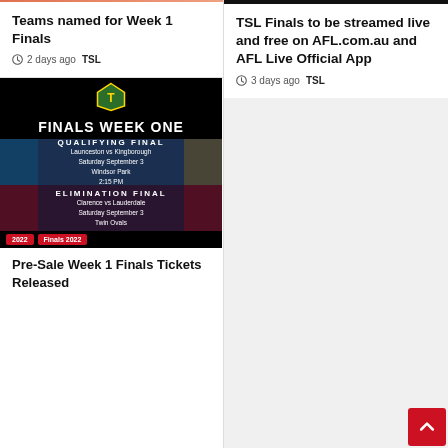Teams named for Week 1 Finals
2 days ago  TSL
TSL Finals to be streamed live and free on AFL.com.au and AFL Live Official App
3 days ago  TSL
[Figure (photo): Finals Week One promotional image showing TSL logo, Qualifying Final: Launceston vs Kingborough Saturday September 3 Windsor Park 2:15 PM, and Elimination Final: Clarence vs Lauderdale Saturday September 3 Twin Ovals, with 2022 Finals 2022 badges]
Pre-Sale Week 1 Finals Tickets Released